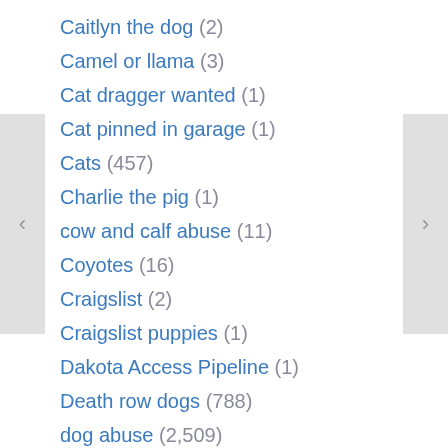Caitlyn the dog (2)
Camel or llama (3)
Cat dragger wanted (1)
Cat pinned in garage (1)
Cats (457)
Charlie the pig (1)
cow and calf abuse (11)
Coyotes (16)
Craigslist (2)
Craigslist puppies (1)
Dakota Access Pipeline (1)
Death row dogs (788)
dog abuse (2,509)
Dog euthanized over sweater (1)
Dog fighting (125)
Dog food (10)
Dog freezes to death at airport (1)